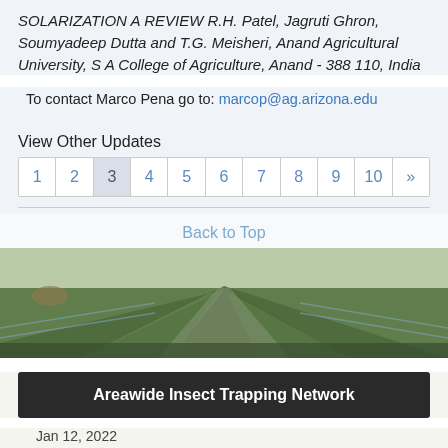SOLARIZATION - A REVIEW R.H. Patel, Jagruti Ghron, Soumyadeep Dutta and T.G. Meisheri, Anand Agricultural University, S A College of Agriculture, Anand - 388 110, India
To contact Marco Pena go to: marcop@ag.arizona.edu
View Other Updates
1 2 3 4 5 6 7 8 9 10 »
Back to Top
[Figure (photo): Aerial view of irrigated crop rows in a farm field]
Areawide Insect Trapping Network
Jan 12, 2022
Area wide Insect Trapping Network (January 12, 2022)